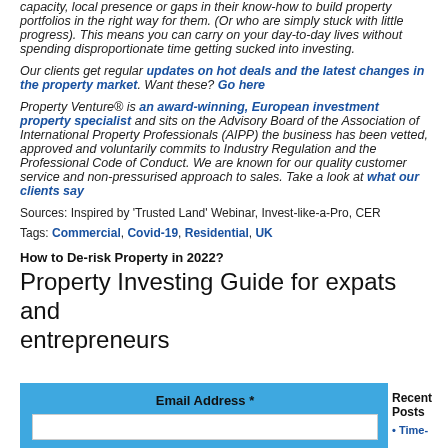capacity, local presence or gaps in their know-how to build property portfolios in the right way for them. (Or who are simply stuck with little progress). This means you can carry on your day-to-day lives without spending disproportionate time getting sucked into investing.
Our clients get regular updates on hot deals and the latest changes in the property market. Want these? Go here
Property Venture® is an award-winning, European investment property specialist and sits on the Advisory Board of the Association of International Property Professionals (AIPP) the business has been vetted, approved and voluntarily commits to Industry Regulation and the Professional Code of Conduct. We are known for our quality customer service and non-pressurised approach to sales. Take a look at what our clients say
Sources: Inspired by 'Trusted Land' Webinar, Invest-like-a-Pro, CER
Tags: Commercial, Covid-19, Residential, UK
How to De-risk Property in 2022?
Property Investing Guide for expats and entrepreneurs
Email Address *
Recent Posts
Time-